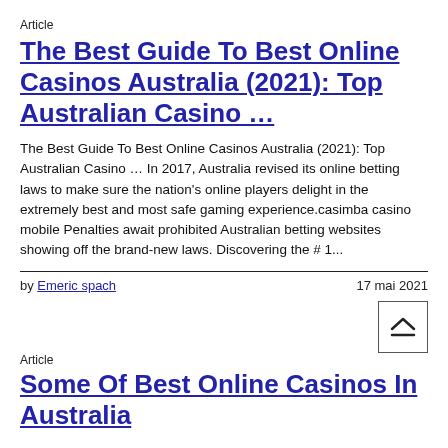Article
The Best Guide To Best Online Casinos Australia (2021): Top Australian Casino …
The Best Guide To Best Online Casinos Australia (2021): Top Australian Casino … In 2017, Australia revised its online betting laws to make sure the nation's online players delight in the extremely best and most safe gaming experience.casimba casino mobile Penalties await prohibited Australian betting websites showing off the brand-new laws. Discovering the # 1...
by Emeric spach
17 mai 2021
Article
Some Of Best Online Casinos In Australia